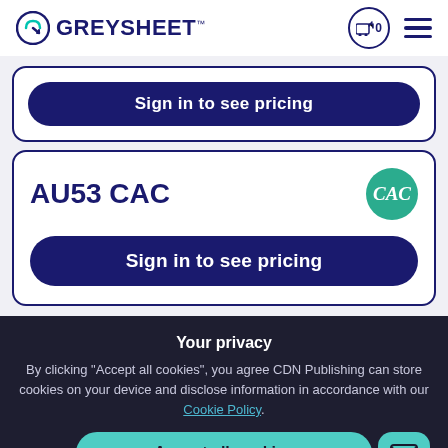GREYSHEET
Sign in to see pricing
AU53 CAC
Sign in to see pricing
Your privacy
By clicking "Accept all cookies", you agree CDN Publishing can store cookies on your device and disclose information in accordance with our Cookie Policy.
Accept all cookies